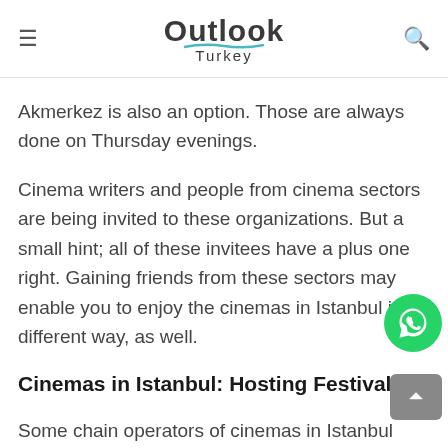Outlook Turkey
Akmerkez is also an option. Those are always done on Thursday evenings.
Cinema writers and people from cinema sectors are being invited to these organizations. But a small hint; all of these invitees have a plus one right. Gaining friends from these sectors may enable you to enjoy the cinemas in Istanbul in a different way, as well.
Cinemas in Istanbul: Hosting Festivals
Some chain operators of cinemas in Istanbul were used to organize their own festivals in the